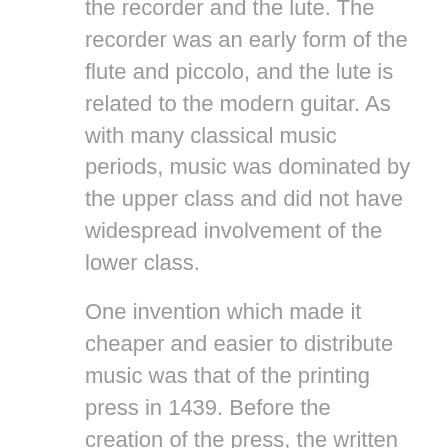the recorder and the lute. The recorder was an early form of the flute and piccolo, and the lute is related to the modern guitar. As with many classical music periods, music was dominated by the upper class and did not have widespread involvement of the lower class.
One invention which made it cheaper and easier to distribute music was that of the printing press in 1439. Before the creation of the press, the written songs, music and musical theory text had to be